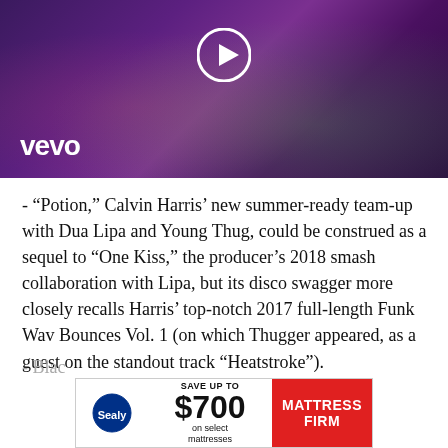[Figure (screenshot): Vevo music video thumbnail with purple/dark background, play button circle at top center, and 'vevo' logo in white at bottom left. Shows a figure in colorful lighting.]
- “Potion,” Calvin Harris’ new summer-ready team-up with Dua Lipa and Young Thug, could be construed as a sequel to “One Kiss,” the producer’s 2018 smash collaboration with Lipa, but its disco swagger more closely recalls Harris’ top-notch 2017 full-length Funk Wav Bounces Vol. 1 (on which Thugger appeared, as a guest on the standout track “Heatstroke”).
- Blac
[Figure (other): Advertisement banner for Mattress Firm featuring Sealy logo, 'SAVE UP TO $700 on select mattresses' text, and red Mattress Firm logo on the right.]